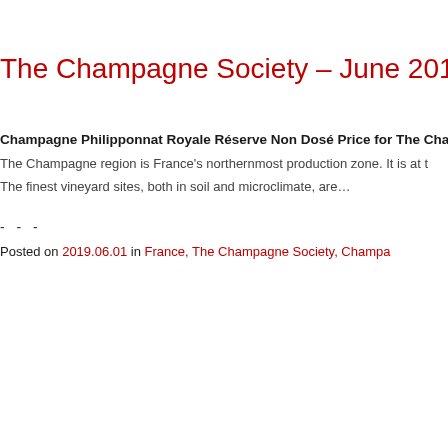The Champagne Society – June 2019 Se…
Champagne Philipponnat Royale Réserve Non Dosé Price for The Cha…
The Champagne region is France's northernmost production zone. It is at t…
The finest vineyard sites, both in soil and microclimate, are…
- - -
Posted on 2019.06.01 in France, The Champagne Society, Champa…